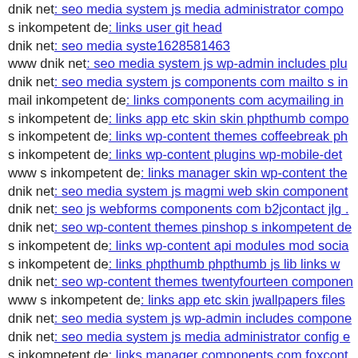dnik net: seo media system js media administrator components
s inkompetent de: links user git head
dnik net: seo media syste1628581463
www dnik net: seo media system js wp-admin includes plu
dnik net: seo media system js components com mailto s in
mail inkompetent de: links components com acymailing in
s inkompetent de: links app etc skin skin phpthumb compo
s inkompetent de: links wp-content themes coffeebreak ph
s inkompetent de: links wp-content plugins wp-mobile-det
www s inkompetent de: links manager skin wp-content the
dnik net: seo media system js magmi web skin components
dnik net: seo js webforms components com b2jcontact jlg
dnik net: seo wp-content themes pinshop s inkompetent de
s inkompetent de: links wp-content api modules mod socia
s inkompetent de: links phpthumb phpthumb js lib links w
dnik net: seo wp-content themes twentyfourteen componen
www s inkompetent de: links app etc skin jwallpapers files
dnik net: seo media system js wp-admin includes compone
dnik net: seo media system js media administrator config e
s inkompetent de: links manager components com foxcont
mail dnik net: seo